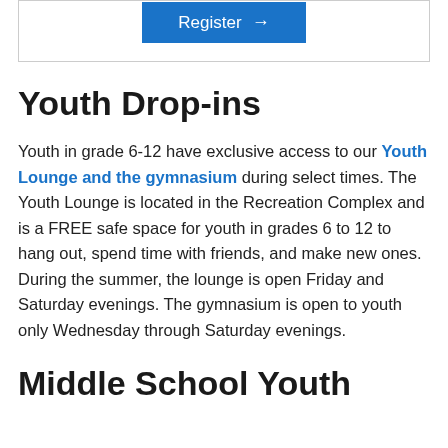[Figure (other): Register button with right arrow on blue background inside a bordered box]
Youth Drop-ins
Youth in grade 6-12 have exclusive access to our Youth Lounge and the gymnasium during select times. The Youth Lounge is located in the Recreation Complex and is a FREE safe space for youth in grades 6 to 12 to hang out, spend time with friends, and make new ones. During the summer, the lounge is open Friday and Saturday evenings. The gymnasium is open to youth only Wednesday through Saturday evenings.
Middle School Youth